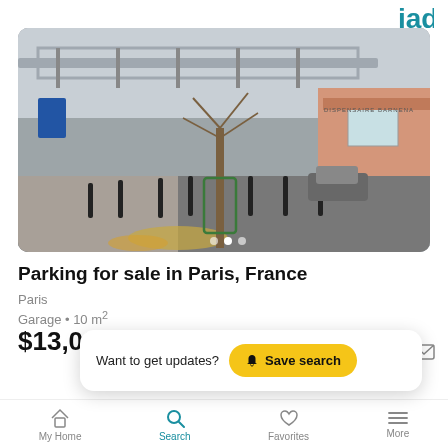[Figure (logo): IAD real estate logo — teal stylized letters with 'iad' text below]
[Figure (photo): Street scene in Paris showing an elevated metro bridge, a tree with bare branches in the foreground, bollards along the sidewalk, a car on the road, and a pink building with 'DISPENSAIRE BARNENA' text. Autumn leaves on ground.]
Parking for sale in Paris, France
Paris
Garage • 10 m²
$13,033
Want to get updates?  Save search
My Home
Search
Favorites
More